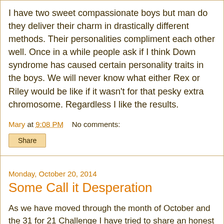I have two sweet compassionate boys but man do they deliver their charm in drastically different methods.  Their personalities compliment each other well.  Once in a while people ask if I think Down syndrome has caused certain personality traits in the boys.   We will never know what either Rex or Riley would be like if it wasn't for that pesky extra chromosome.  Regardless I like the results.
Mary at 9:08 PM    No comments:
Share
Monday, October 20, 2014
Some Call it Desperation
As we have moved through the month of October and the 31 for 21 Challenge I have tried to share an honest picture of our world.  We aren't wallowing in Down syndrome most of the time.  I think like all families we are trying to cope with day to day life and making sure our kids have the most opportunities to be healthy and successful.   Honestly the truth be told I my goal and motivation